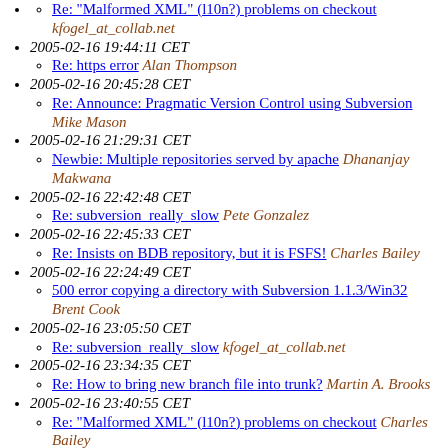Re: "Malformed XML" (l10n?) problems on checkout kfogel_at_collab.net
2005-02-16 19:44:11 CET
Re: https error Alan Thompson
2005-02-16 20:45:28 CET
Re: Announce: Pragmatic Version Control using Subversion Mike Mason
2005-02-16 21:29:31 CET
Newbie: Multiple repositories served by apache Dhananjay Makwana
2005-02-16 22:42:48 CET
Re: subversion_really_slow Pete Gonzalez
2005-02-16 22:45:33 CET
Re: Insists on BDB repository, but it is FSFS! Charles Bailey
2005-02-16 22:24:49 CET
500 error copying a directory with Subversion 1.1.3/Win32 Brent Cook
2005-02-16 23:05:50 CET
Re: subversion_really_slow kfogel_at_collab.net
2005-02-16 23:34:35 CET
Re: How to bring new branch file into trunk? Martin A. Brooks
2005-02-16 23:40:55 CET
Re: "Malformed XML" (l10n?) problems on checkout Charles Bailey